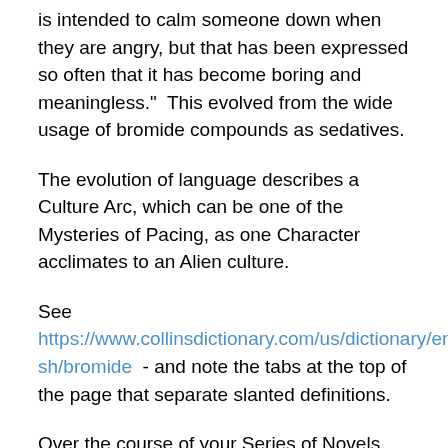is intended to calm someone down when they are angry, but that has been expressed so often that it has become boring and meaningless."  This evolved from the wide usage of bromide compounds as sedatives.
The evolution of language describes a Culture Arc, which can be one of the Mysteries of Pacing, as one Character acclimates to an Alien culture.
See https://www.collinsdictionary.com/us/dictionary/english/bromide  - and note the tabs at the top of the page that separate slanted definitions.
Over the course of your Series of Novels, let the